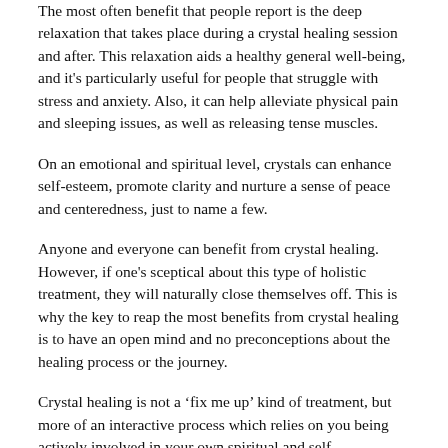The most often benefit that people report is the deep relaxation that takes place during a crystal healing session and after. This relaxation aids a healthy general well-being, and it's particularly useful for people that struggle with stress and anxiety. Also, it can help alleviate physical pain and sleeping issues, as well as releasing tense muscles.
On an emotional and spiritual level, crystals can enhance self-esteem, promote clarity and nurture a sense of peace and centeredness, just to name a few.
Anyone and everyone can benefit from crystal healing. However, if one's sceptical about this type of holistic treatment, they will naturally close themselves off. This is why the key to reap the most benefits from crystal healing is to have an open mind and no preconceptions about the healing process or the journey.
Crystal healing is not a ‘fix me up’ kind of treatment, but more of an interactive process which relies on you being actively involved in your own spiritual and self-development journey.
What to expect in a crystal